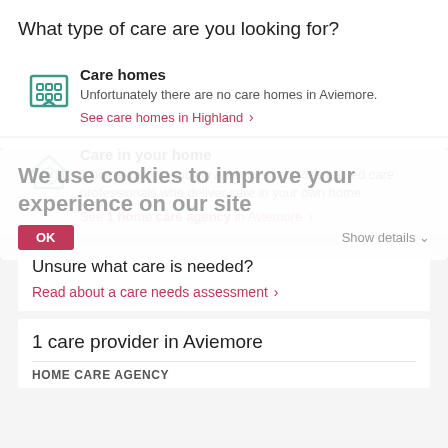What type of care are you looking for?
Care homes
Unfortunately there are no care homes in Aviemore.
See care homes in Highland ›
[Figure (screenshot): Cookie consent overlay: 'We use cookies to improve your experience on our site' with OK button and Show details link]
Care in your home
1 home care agency in Aviemore provides trained care professionals who deliver care in your own home.
See 1 home care agency in Aviemore ›
Unsure what care is needed?
Read about a care needs assessment ›
1 care provider in Aviemore
HOME CARE AGENCY